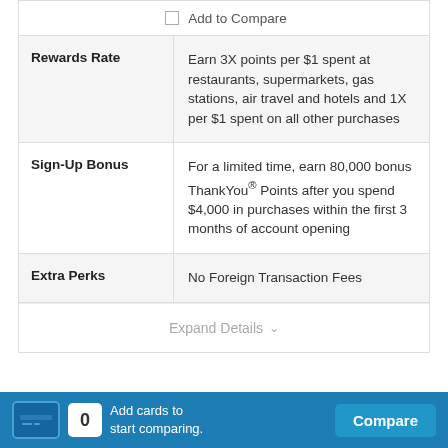| Feature | Details |
| --- | --- |
| Rewards Rate | Earn 3X points per $1 spent at restaurants, supermarkets, gas stations, air travel and hotels and 1X per $1 spent on all other purchases |
| Sign-Up Bonus | For a limited time, earn 80,000 bonus ThankYou® Points after you spend $4,000 in purchases within the first 3 months of account opening |
| Extra Perks | No Foreign Transaction Fees |
Expand Details
Compare
Add cards to start comparing.
Compare